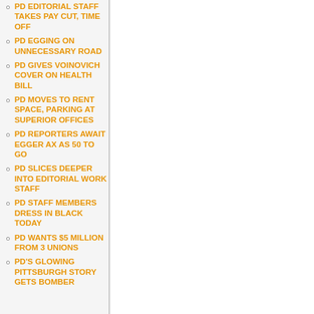PD EDITORIAL STAFF TAKES PAY CUT, TIME OFF
PD EGGING ON UNNECESSARY ROAD
PD GIVES VOINOVICH COVER ON HEALTH BILL
PD MOVES TO RENT SPACE, PARKING AT SUPERIOR OFFICES
PD REPORTERS AWAIT EGGER AX AS 50 TO GO
PD SLICES DEEPER INTO EDITORIAL WORK STAFF
PD STAFF MEMBERS DRESS IN BLACK TODAY
PD WANTS $5 MILLION FROM 3 UNIONS
PD'S GLOWING PITTSBURGH STORY GETS BOMBER